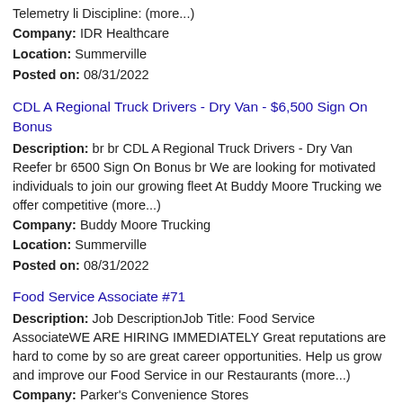...Telemetry li Discipline: (more...)
Company: IDR Healthcare
Location: Summerville
Posted on: 08/31/2022
CDL A Regional Truck Drivers - Dry Van - $6,500 Sign On Bonus
Description: br br CDL A Regional Truck Drivers - Dry Van Reefer br 6500 Sign On Bonus br We are looking for motivated individuals to join our growing fleet At Buddy Moore Trucking we offer competitive (more...)
Company: Buddy Moore Trucking
Location: Summerville
Posted on: 08/31/2022
Food Service Associate #71
Description: Job DescriptionJob Title: Food Service AssociateWE ARE HIRING IMMEDIATELY Great reputations are hard to come by so are great career opportunities. Help us grow and improve our Food Service in our Restaurants (more...)
Company: Parker's Convenience Stores
Location: Summerville
Posted on: 08/31/2022